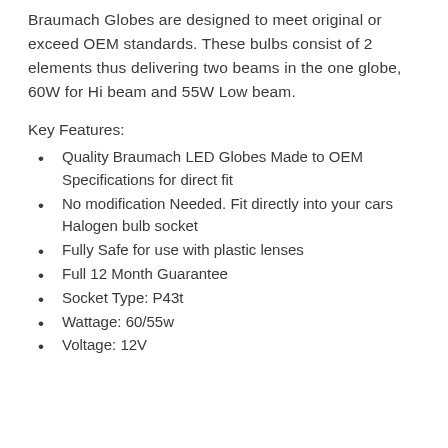Braumach Globes are designed to meet original or exceed OEM standards. These bulbs consist of 2 elements thus delivering two beams in the one globe, 60W for Hi beam and 55W Low beam.
Key Features:
Quality Braumach LED Globes Made to OEM Specifications for direct fit
No modification Needed. Fit directly into your cars Halogen bulb socket
Fully Safe for use with plastic lenses
Full 12 Month Guarantee
Socket Type: P43t
Wattage: 60/55w
Voltage: 12V